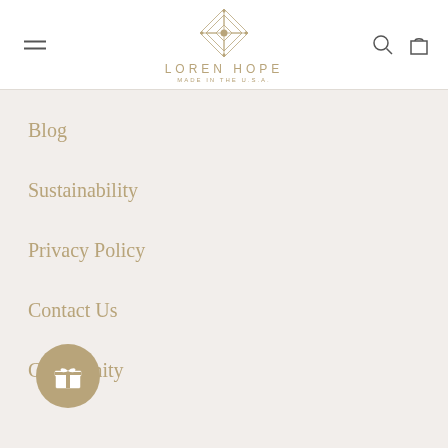LOREN HOPE
Blog
Sustainability
Privacy Policy
Contact Us
Community
Start a Return
Shipping & Repairs
Jewelry Care
Gift Cards
[Figure (illustration): Gift/rewards button icon with gift box symbol in gold circle]